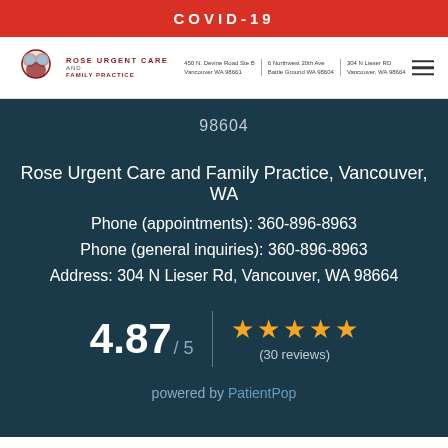COVID-19
[Figure (logo): Rose Urgent Care and Family Practice logo with addresses: 450 N. Devine Road Ste B Vancouver WA 98661 | 6 Northwest 20th Ave Battle Ground WA 98604 | 304 N Lieser RD Vancouver, WA 98664]
98604
Rose Urgent Care and Family Practice, Vancouver, WA
Phone (appointments): 360-896-8963
Phone (general inquiries): 360-896-8963
Address: 304 N Lieser Rd, Vancouver, WA 98664
4.87 / 5  ★★★★★ (30 reviews)
powered by PatientPop